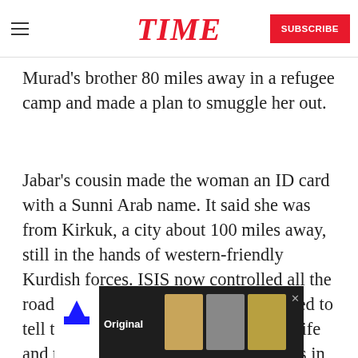TIME | SUBSCRIBE
Murad’s brother 80 miles away in a refugee camp and made a plan to smuggle her out.
Jabar’s cousin made the woman an ID card with a Sunni Arab name. It said she was from Kirkuk, a city about 100 miles away, still in the hands of western-friendly Kurdish forces. ISIS now controlled all the roads in and out of Mosul. They planned to tell the militants that she was Jabar’s wife and they were going to visit her parents in Kirkuk.
[Figure (other): Advertisement overlay showing Paramount Originals ad with images of people and scenery, with a close X button]